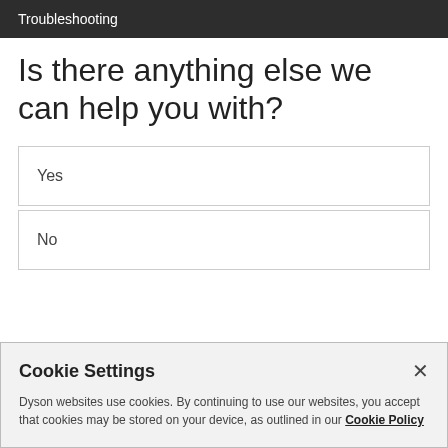Troubleshooting
Is there anything else we can help you with?
Yes
No
Cookie Settings
Dyson websites use cookies. By continuing to use our websites, you accept that cookies may be stored on your device, as outlined in our Cookie Policy